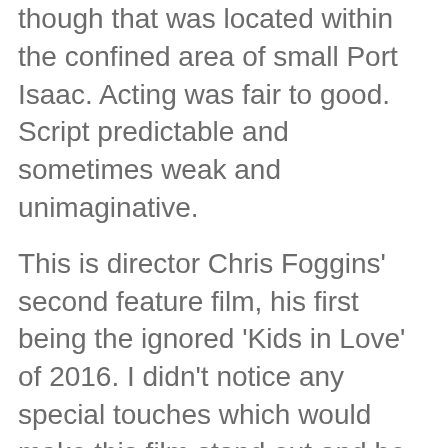though that was located within the confined area of small Port Isaac. Acting was fair to good. Script predictable and sometimes weak and unimaginative.
This is director Chris Foggins' second feature film, his first being the ignored 'Kids in Love' of 2016. I didn't notice any special touches which would make this film stand out and be retained in the memory, apart from its built-in unusual subject matter and location. During the course of watching it I was pretty sure I'd give it a really low-rating based on my very personal individual